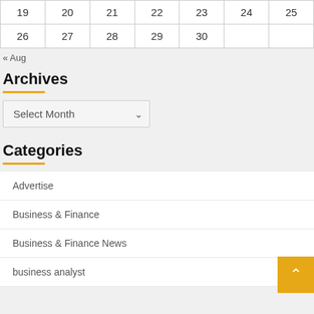| 19 | 20 | 21 | 22 | 23 | 24 | 25 |
| 26 | 27 | 28 | 29 | 30 |  |  |
« Aug
Archives
Select Month
Categories
Advertise
Business & Finance
Business & Finance News
business analyst